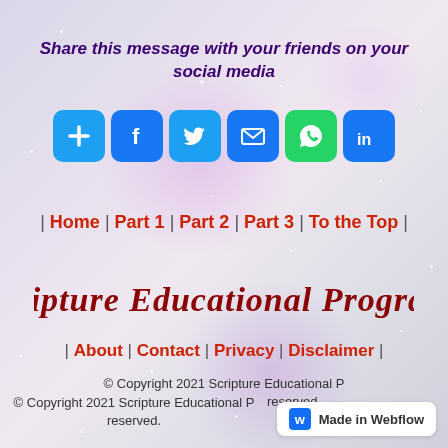Share this message with your friends on your social media
[Figure (infographic): Row of social media share buttons: Plus/Share, Facebook, Twitter, Email, WhatsApp, LinkedIn]
| Home | Part 1 | Part 2 | Part 3 | To the Top |
[Figure (logo): Scripture Educational Programs logo in dark red italic script font]
| About | Contact | Privacy | Disclaimer |
© Copyright 2021 Scripture Educational Programs. All rights reserved.